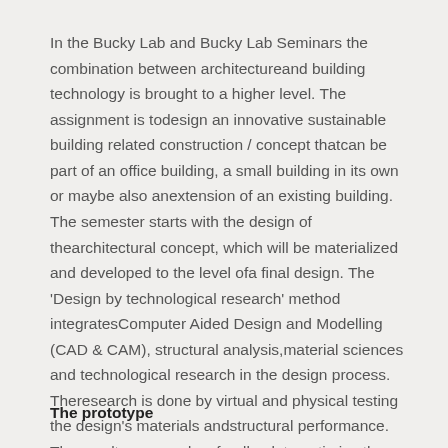In the Bucky Lab and Bucky Lab Seminars the combination between architectureand building technology is brought to a higher level. The assignment is todesign an innovative sustainable building related construction / concept thatcan be part of an office building, a small building in its own or maybe also anextension of an existing building. The semester starts with the design of thearchitectural concept, which will be materialized and developed to the level ofa final design. The 'Design by technological research' method integratesComputer Aided Design and Modelling (CAD & CAM), structural analysis,material sciences and technological research in the design process. Theresearch is done by virtual and physical testing the design's materials andstructural performance. The results are used as feedback to optimize the designinto a state that it can be build as a prototype finally.
The prototype